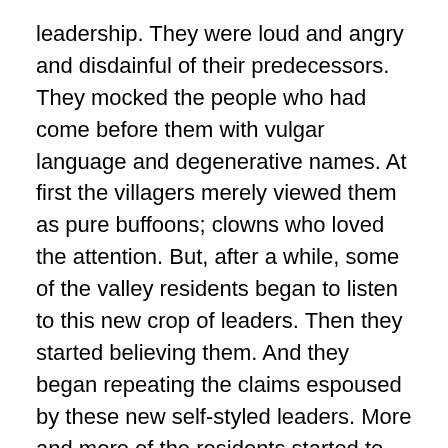leadership.  They were loud and angry and disdainful of their predecessors.  They mocked the people who had come before them with vulgar language and degenerative names.  At first the villagers merely viewed them as pure buffoons; clowns who loved the attention.  But, after a while, some of the valley residents began to listen to this new crop of leaders.  Then they started believing them.  And they began repeating the claims espoused by these new self-styled leaders.  More and more of the residents started to believe these people.  After all, the latter group was wealthy and educated – they must know of what they speak.  They could not be lying.  The words these individuals used, the images they painted of a world out of control – all of it frightened the valley residents.
One afternoon Mother Truth tore through the Valley atop Justice and frantically told the villagers that the crescendo